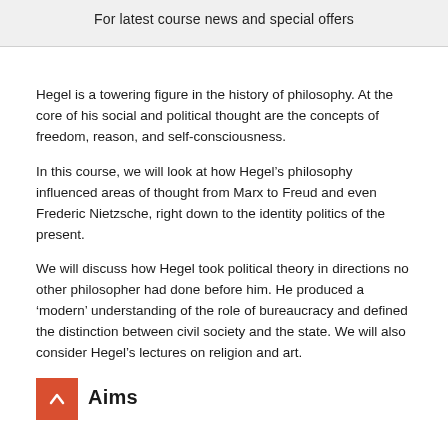For latest course news and special offers
Hegel is a towering figure in the history of philosophy. At the core of his social and political thought are the concepts of freedom, reason, and self-consciousness.
In this course, we will look at how Hegel’s philosophy influenced areas of thought from Marx to Freud and even Frederic Nietzsche, right down to the identity politics of the present.
We will discuss how Hegel took political theory in directions no other philosopher had done before him. He produced a ‘modern’ understanding of the role of bureaucracy and defined the distinction between civil society and the state. We will also consider Hegel’s lectures on religion and art.
Aims